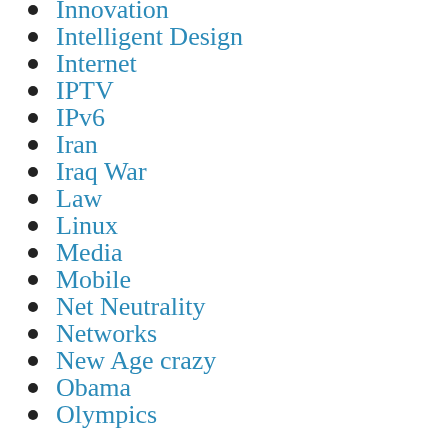Innovation
Intelligent Design
Internet
IPTV
IPv6
Iran
Iraq War
Law
Linux
Media
Mobile
Net Neutrality
Networks
New Age crazy
Obama
Olympics